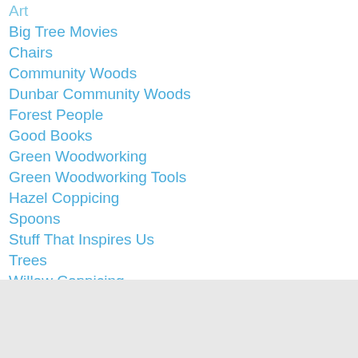Art
Big Tree Movies
Chairs
Community Woods
Dunbar Community Woods
Forest People
Good Books
Green Woodworking
Green Woodworking Tools
Hazel Coppicing
Spoons
Stuff That Inspires Us
Trees
Willow Coppicing
Wooplaw
RSS Feed